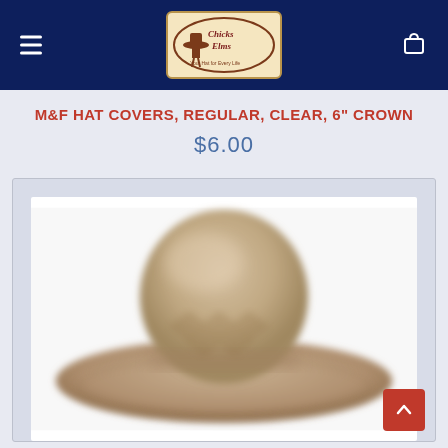Chicks Elms - navigation header with logo and cart icon
M&F HAT COVERS, REGULAR, CLEAR, 6" CROWN
$6.00
[Figure (photo): Blurred product photo of a cowboy hat with clear hat cover, beige/tan color, viewed from front-slightly above angle]